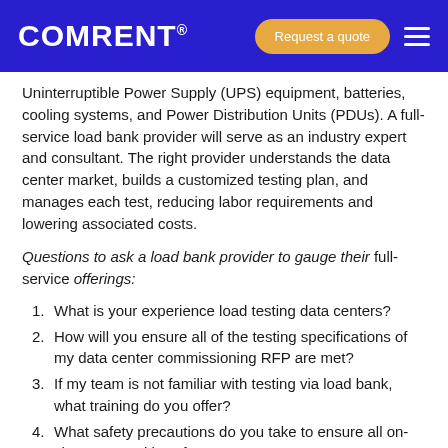COMRENT® | Request a quote
Uninterruptible Power Supply (UPS) equipment, batteries, cooling systems, and Power Distribution Units (PDUs). A full-service load bank provider will serve as an industry expert and consultant. The right provider understands the data center market, builds a customized testing plan, and manages each test, reducing labor requirements and lowering associated costs.
Questions to ask a load bank provider to gauge their full-service offerings:
What is your experience load testing data centers?
How will you ensure all of the testing specifications of my data center commissioning RFP are met?
If my team is not familiar with testing via load bank, what training do you offer?
What safety precautions do you take to ensure all on-site personnel is safe?